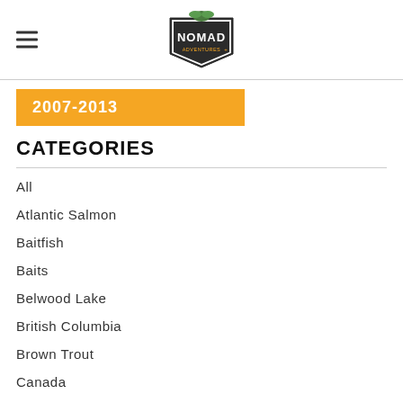Nomad Adventures
2007-2013
CATEGORIES
All
Atlantic Salmon
Baitfish
Baits
Belwood Lake
British Columbia
Brown Trout
Canada
Channel Catfish